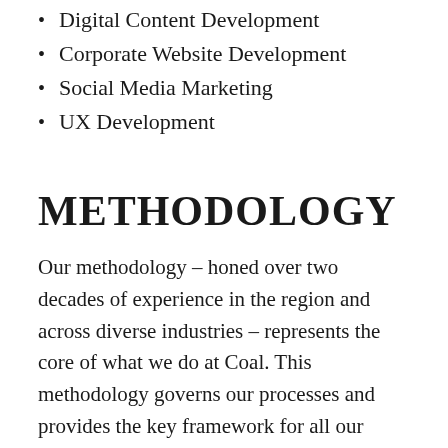Digital Content Development
Corporate Website Development
Social Media Marketing
UX Development
METHODOLOGY
Our methodology – honed over two decades of experience in the region and across diverse industries – represents the core of what we do at Coal. This methodology governs our processes and provides the key framework for all our solutions. In essence, it is our CREED: